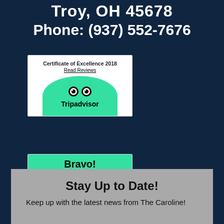Troy, OH 45678
Phone: (937) 552-7676
[Figure (logo): TripAdvisor Certificate of Excellence 2018 badge with green semicircle logo and owl icon, white background, text 'Certificate of Excellence 2018' and 'Read Reviews']
[Figure (logo): TripAdvisor Bravo block with green header 'Bravo!', text 'The Caroline rated "excellent" by 119 travelers', and TripAdvisor owl logo with brand name]
Stay Up to Date!
Keep up with the latest news from The Caroline!